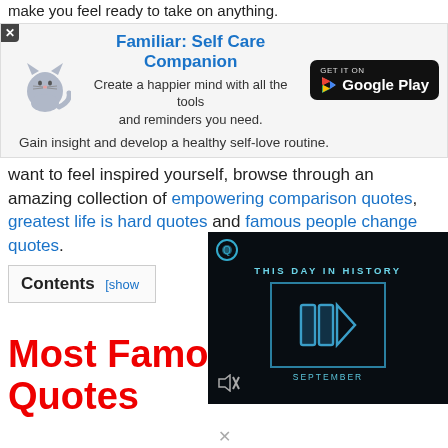make you feel ready to take on anything.
[Figure (infographic): Advertisement banner for 'Familiar: Self Care Companion' app. Shows a cartoon cat icon on the left, bold blue title, subtitle text, and a Google Play download button on the right. Tagline: 'Gain insight and develop a healthy self-love routine.']
want to feel inspired yourself, browse through an amazing collection of empowering comparison quotes, greatest life is hard quotes and famous people change quotes.
Contents [show]
[Figure (screenshot): Video player overlay showing 'THIS DAY IN HISTORY' with a blue play button graphic and 'SEPTEMBER' text on dark background. A mute icon is visible at the bottom left.]
Most Famous Fate Quotes